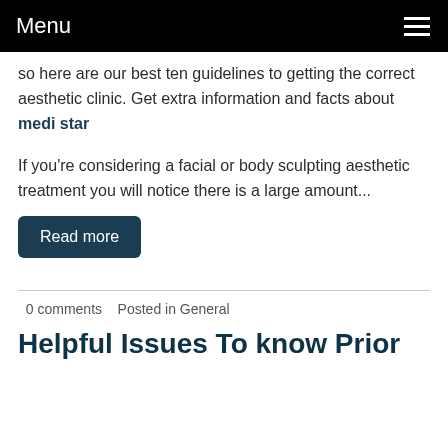Menu
so here are our best ten guidelines to getting the correct aesthetic clinic. Get extra information and facts about medi star
If you're considering a facial or body sculpting aesthetic treatment you will notice there is a large amount...
Read more
0 comments   Posted in General
Helpful Issues To know Prior